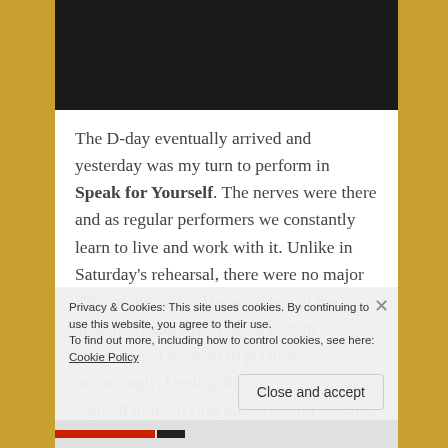[Figure (photo): Dark photographic image strip at the top of the page, showing a dark/black background (partial view of a scene)]
The D-day eventually arrived and yesterday was my turn to perform in Speak for Yourself. The nerves were there and as regular performers we constantly learn to live and work with it. Unlike in Saturday's rehearsal, there were no major slips or mistakes. The presence of the audience naturally brings a certain pressure and we tend to perform accordingly. During the rehearsal, I could enjoy it more, trying out steps and spacing, experimenting. Wh...
Privacy & Cookies: This site uses cookies. By continuing to use this website, you agree to their use.
To find out more, including how to control cookies, see here: Cookie Policy
Close and accept